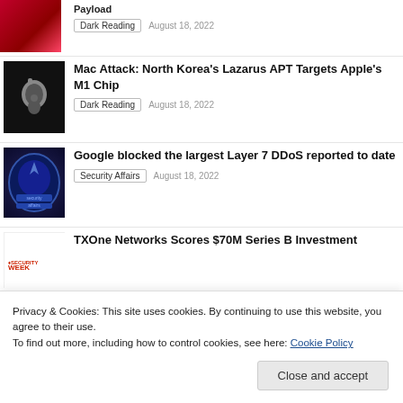[Figure (photo): Red circuit board thumbnail image (partially visible at top)]
Dark Reading   August 18, 2022
[Figure (photo): Black background with Apple logo silhouette and figure]
Mac Attack: North Korea's Lazarus APT Targets Apple's M1 Chip
Dark Reading   August 18, 2022
[Figure (logo): Security Affairs logo - oval badge with blue/dark theme]
Google blocked the largest Layer 7 DDoS reported to date
Security Affairs   August 18, 2022
[Figure (logo): Security Week logo]
TXOne Networks Scores $70M Series B Investment
Privacy & Cookies: This site uses cookies. By continuing to use this website, you agree to their use.
To find out more, including how to control cookies, see here: Cookie Policy
Close and accept